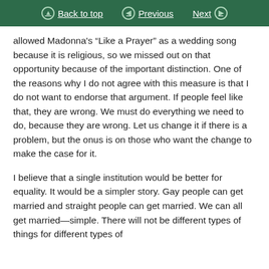Back to top | Previous | Next
allowed Madonna's “Like a Prayer” as a wedding song because it is religious, so we missed out on that opportunity because of the important distinction. One of the reasons why I do not agree with this measure is that I do not want to endorse that argument. If people feel like that, they are wrong. We must do everything we need to do, because they are wrong. Let us change it if there is a problem, but the onus is on those who want the change to make the case for it.
I believe that a single institution would be better for equality. It would be a simpler story. Gay people can get married and straight people can get married. We can all get married—simple. There will not be different types of things for different types of